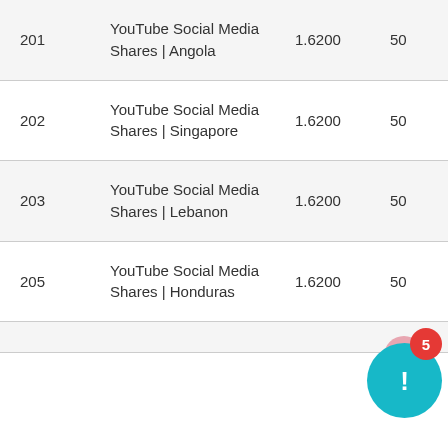| ID | Name | Price | Min | Max |
| --- | --- | --- | --- | --- |
| 201 | YouTube Social Media Shares | Angola | 1.6200 | 50 | 10000 |
| 202 | YouTube Social Media Shares | Singapore | 1.6200 | 50 | 10000 |
| 203 | YouTube Social Media Shares | Lebanon | 1.6200 | 50 | 10000 |
| 205 | YouTube Social Media Shares | Honduras | 1.6200 | 50 | 10000 |